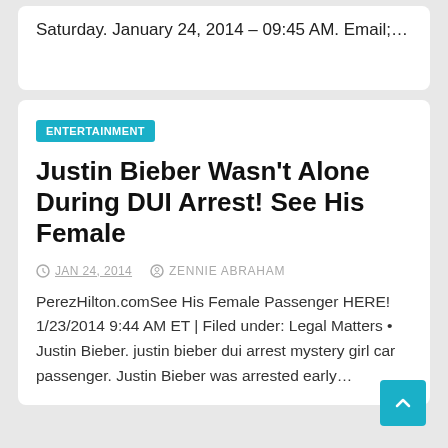Saturday. January 24, 2014 – 09:45 AM. Email;…
ENTERTAINMENT
Justin Bieber Wasn't Alone During DUI Arrest! See His Female
JAN 24, 2014   ZENNIE ABRAHAM
PerezHilton.comSee His Female Passenger HERE! 1/23/2014 9:44 AM ET | Filed under: Legal Matters • Justin Bieber. justin bieber dui arrest mystery girl car passenger. Justin Bieber was arrested early…